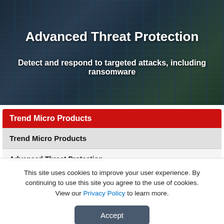[Figure (photo): Dark data center server rack background with blue-green digital overlay lighting]
Advanced Threat Protection
Detect and respond to targeted attacks, including ransomware
Trend Micro Products
Trend Micro Products
Advanced Threat Protection
This site uses cookies to improve your user experience. By continuing to use this site you agree to the use of cookies. View our Privacy Policy to learn more.
Accept